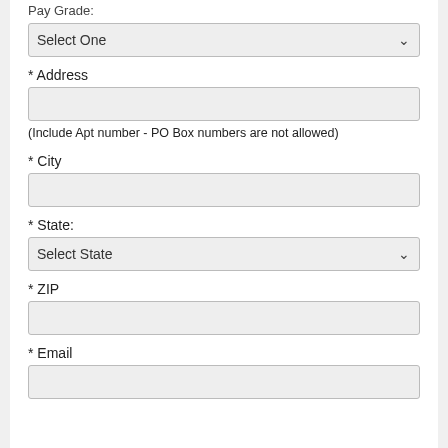Pay Grade:
Select One (dropdown)
* Address
(Include Apt number - PO Box numbers are not allowed)
* City
* State:
Select State (dropdown)
* ZIP
* Email